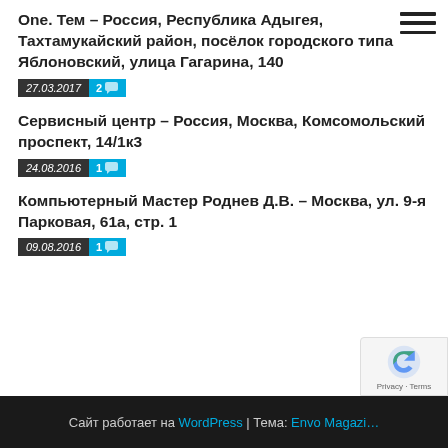Оne. Тем – Россия, Республика Адыгея, Тахтамукайский район, посёлок городского типа Яблоновский, улица Гагарина, 140
27.03.2017  2
Сервисный центр – Россия, Москва, Комсомольский проспект, 14/1к3
24.08.2016  1
Компьютерный Мастер Роднев Д.В. – Москва, ул. 9-я Парковая, 61а, стр. 1
09.08.2016  1
Сайт работает на WordPress | Тема: Envo Magazi…